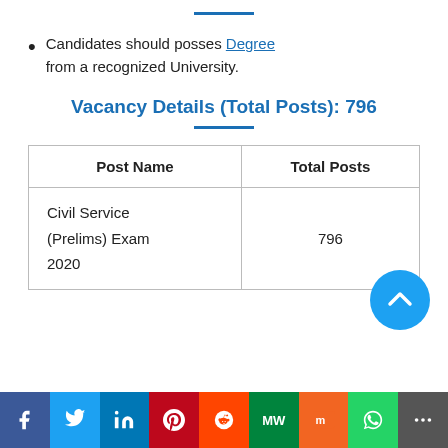Candidates should posses Degree from a recognized University.
Vacancy Details (Total Posts): 796
| Post Name | Total Posts |
| --- | --- |
| Civil Service (Prelims) Exam 2020 | 796 |
Social share bar: Facebook, Twitter, LinkedIn, Pinterest, Reddit, MeWe, Mix, WhatsApp, More